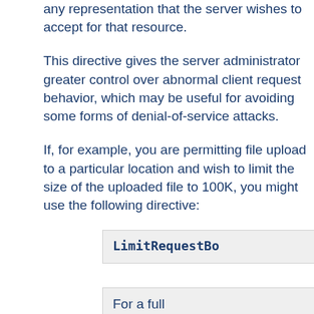any representation that the server wishes to accept for that resource.
This directive gives the server administrator greater control over abnormal client request behavior, which may be useful for avoiding some forms of denial-of-service attacks.
If, for example, you are permitting file upload to a particular location and wish to limit the size of the uploaded file to 100K, you might use the following directive:
LimitRequestBo
For a full